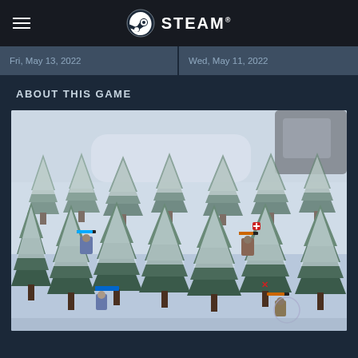STEAM
Fri, May 13, 2022
Wed, May 11, 2022
ABOUT THIS GAME
[Figure (screenshot): Isometric top-down video game screenshot showing a snowy forest scene with pine trees covered in snow, military/tactical characters with health bars visible, and a winter battlefield environment]